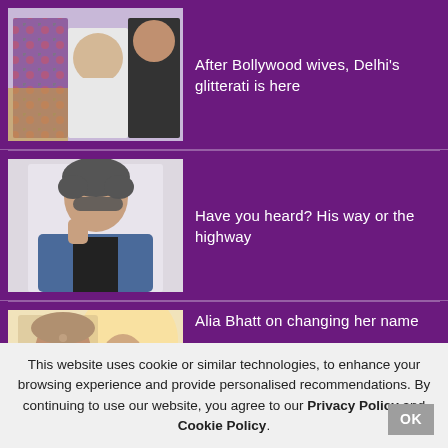[Figure (photo): Collage of three celebrities — man in floral jacket, woman in white suit, man in black mesh shirt — on a purple background]
After Bollywood wives, Delhi's glitterati is here
[Figure (photo): Young man with curly hair wearing sunglasses and a denim jacket, posing casually on a light background]
Have you heard? His way or the highway
[Figure (photo): Couple in warm-toned photo, man with turban and woman close together]
Alia Bhatt on changing her name
This website uses cookie or similar technologies, to enhance your browsing experience and provide personalised recommendations. By continuing to use our website, you agree to our Privacy Policy and Cookie Policy.